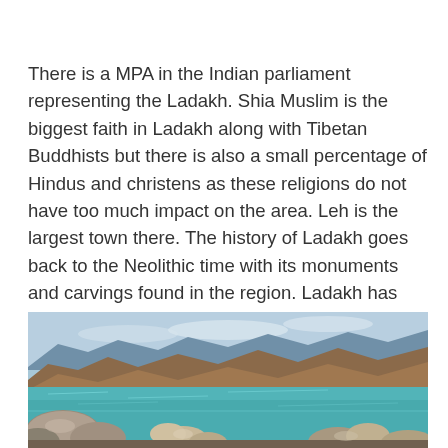There is a MPA in the Indian parliament representing the Ladakh. Shia Muslim is the biggest faith in Ladakh along with Tibetan Buddhists but there is also a small percentage of Hindus and christens as these religions do not have too much impact on the area. Leh is the largest town there. The history of Ladakh goes back to the Neolithic time with its monuments and carvings found in the region. Ladakh has faced many earth quakes in the past. Yaks among animals and the black necked crane among birds are the most famous there.
[Figure (photo): A panoramic photograph of a mountain lake (likely Pangong Lake in Ladakh) with crystal blue water in the foreground, large rocks along the shore, and rugged brown mountains under a partly cloudy sky in the background.]